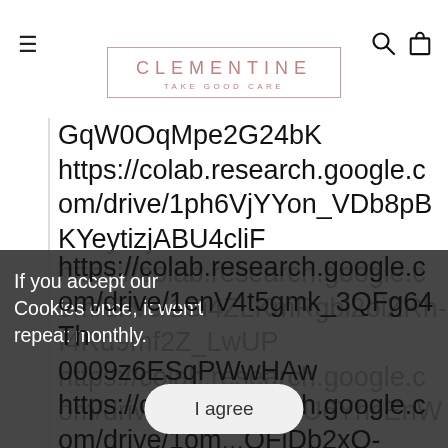CLEMENTINE — TAKE GOOD CARE
GqW0OqMpe2G24bK https://colab.research.google.com/drive/1ph6VjYYon_VDb8pBKYeytizjABU4cliF https://colab.research.google.com/drive/1Si4ZLKmRgbl2oiZRh-I4Rd9mf2Z_LwUP https://colab.research.google.com/drive/1jABQWdhU6YhcEnWIYCt99Qn70H3697Ud https://colab.research.google.com/drive/1enV4t5gmk_3QFg64Th0009z6ESqPWwHAw https://colab.research.google.com/drive/1om...QFjDb2xO-SMYRFY_xHnyiBmzAWJdB
If you accept our Cookies once, it won't repeat monthly.
I agree